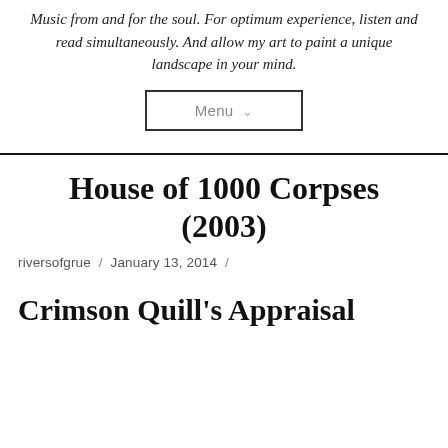Music from and for the soul. For optimum experience, listen and read simultaneously. And allow my art to paint a unique landscape in your mind.
[Figure (other): Menu navigation button with downward chevron, outlined in black border]
House of 1000 Corpses (2003)
riversofgrue / January 13, 2014 /
Crimson Quill's Appraisal